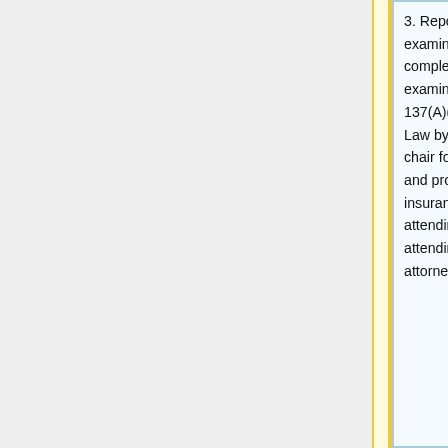3. Reports. The independent medical examiner shall provide copies of complete and accurate reports of examinations as required under section 137(A)(1) of the Workers' Compensation Law by filing the form prescribed by the chair for such purpose with the board and providing copies of such form to the insurance carrier, the claimant's attending or provider or other primary attending practitioner, the claimant's attorney